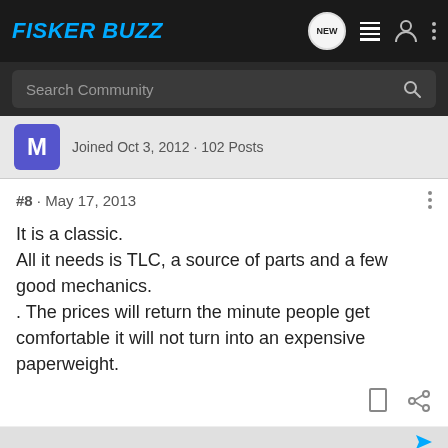FISKER BUZZ
Search Community
Joined Oct 3, 2012 · 102 Posts
#8 · May 17, 2013
It is a classic.
All it needs is TLC, a source of parts and a few good mechanics.
. The prices will return the minute people get comfortable it will not turn into an expensive paperweight.
Rob · Registered